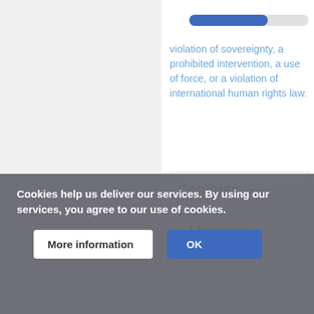violation of sovereignty, a prohibited intervention, a use of force, or a violation of international human rights law.
Contents [hide]
1 Scenario
1.1 Keywords
Cookies help us deliver our services. By using our services, you agree to our use of cookies. More information OK